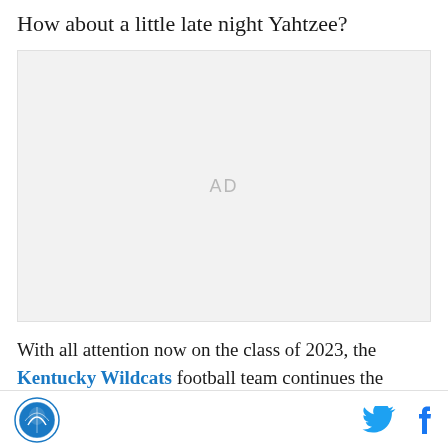How about a little late night Yahtzee?
[Figure (other): Advertisement placeholder box with 'AD' label in gray]
With all attention now on the class of 2023, the Kentucky Wildcats football team continues the momentum on the recruiting trail, as they picked up a
Kentucky Wildcats logo, Twitter icon, Facebook icon